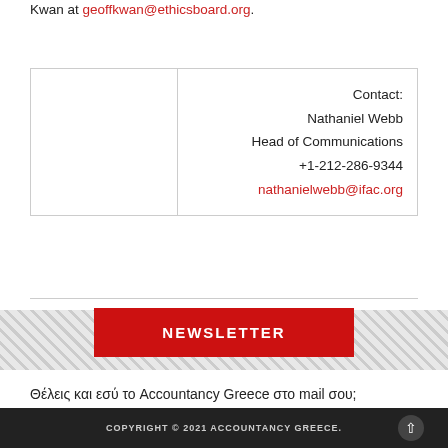Kwan at geoffkwan@ethicsboard.org.
|  | Contact |
| --- | --- |
|  | Contact:
Nathaniel Webb
Head of Communications
+1-212-286-9344
nathanielwebb@ifac.org |
NEWSLETTER
Θέλεις και εσύ το Accountancy Greece στο mail σου;
COPYRIGHT © 2021 ACCOUNTANCY GREECE.